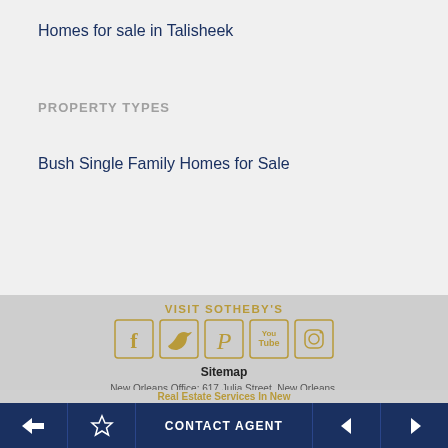Homes for sale in Talisheek
PROPERTY TYPES
Bush Single Family Homes for Sale
VISIT SOTHEBY'S
[Figure (other): Social media icon buttons: Facebook, Twitter, Pinterest, YouTube, Instagram — gold outlined square buttons]
Sitemap
New Orleans Office: 617 Julia Street, New Orleans, Louisiana 70130 United States
Real Estate Services In New
CONTACT AGENT